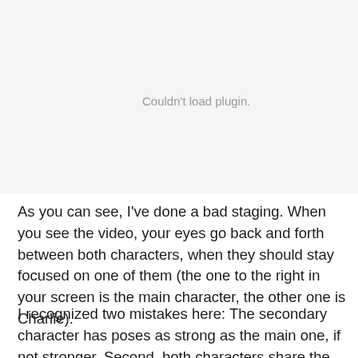[Figure (other): Plugin placeholder area showing 'Couldn't load plugin.' message in gray text on light gray background]
As you can see, I've done a bad staging. When you see the video, your eyes go back and forth between both characters, when they should stay focused on one of them (the one to the right in your screen is the main character, the other one is Charlie).
I recognized two mistakes here: The secondary character has poses as strong as the main one, if not stronger. Second, both characters share the same amount of space in